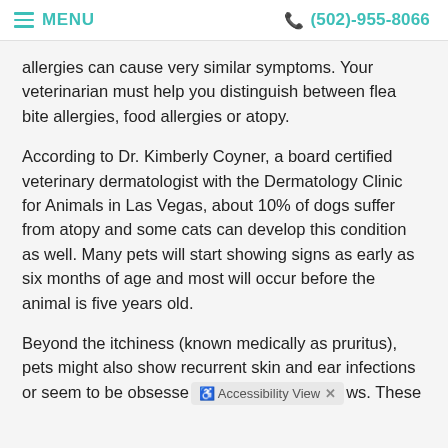MENU  (502)-955-8066
allergies can cause very similar symptoms. Your veterinarian must help you distinguish between flea bite allergies, food allergies or atopy.
According to Dr. Kimberly Coyner, a board certified veterinary dermatologist with the Dermatology Clinic for Animals in Las Vegas, about 10% of dogs suffer from atopy and some cats can develop this condition as well. Many pets will start showing signs as early as six months of age and most will occur before the animal is five years old.
Beyond the itchiness (known medically as pruritus), pets might also show recurrent skin and ear infections or seem to be obsessed [Accessibility View] ws. These